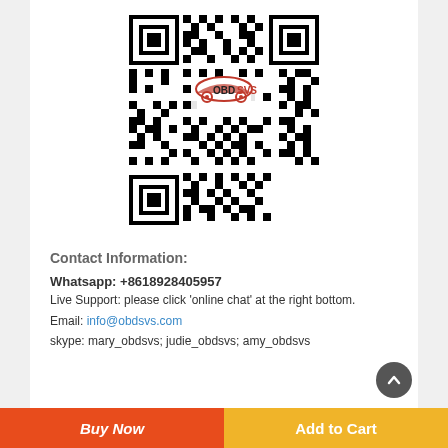[Figure (other): QR code with OBDSVS car logo in the center]
Contact Information:
Whatsapp: +8618928405957
Live Support: please click 'online chat' at the right bottom.
Email: info@obdsvs.com
skype: mary_obdsvs; judie_obdsvs; amy_obdsvs
Buy Now | Add to Cart